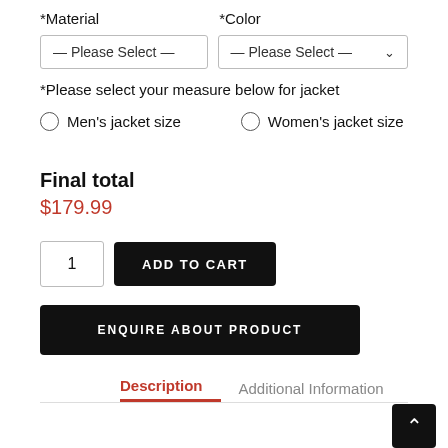*Material    *Color
[Figure (screenshot): Two dropdown select inputs labeled Please Select for Material and Color]
*Please select your measure below for jacket
Men's jacket size
Women's jacket size
Final total
$179.99
[Figure (screenshot): Quantity input box showing 1 and ADD TO CART button]
[Figure (screenshot): ENQUIRE ABOUT PRODUCT button]
Description    Additional Information